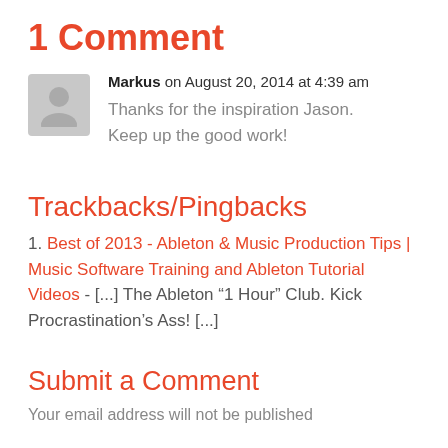1 Comment
Markus on August 20, 2014 at 4:39 am
Thanks for the inspiration Jason. Keep up the good work!
Trackbacks/Pingbacks
1. Best of 2013 - Ableton & Music Production Tips | Music Software Training and Ableton Tutorial Videos - [...] The Ableton “1 Hour” Club. Kick Procrastination’s Ass! [...]
Submit a Comment
Your email address will not be published